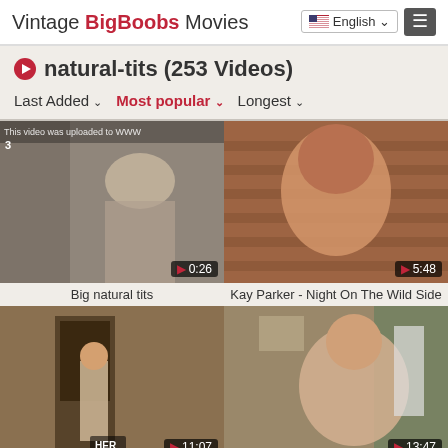Vintage BigBoobs Movies | English | Menu
natural-tits (253 Videos)
Last Added | Most popular | Longest
[Figure (screenshot): Video thumbnail: Big natural tits, duration 0:26]
Big natural tits
[Figure (screenshot): Video thumbnail: Kay Parker - Night On The Wild Side, duration 5:48]
Kay Parker - Night On The Wild Side
[Figure (screenshot): Video thumbnail with HER label, duration 11:07]
[Figure (screenshot): Video thumbnail, duration 13:47]